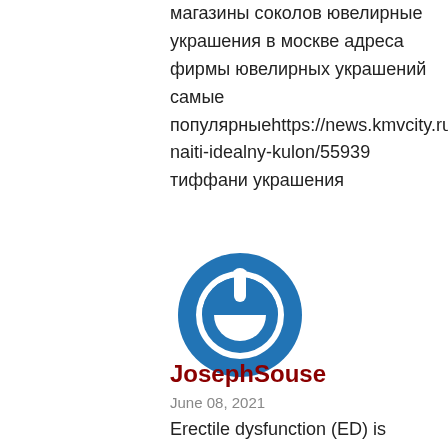магазины соколов ювелирные украшения в москве адреса фирмы ювелирных украшений самые популярныеhttps://news.kmvcity.ru/2021/04/27/kak-naiti-idealny-kulon/55939 тиффани украшения
[Figure (logo): Blue circular power button logo icon]
JosephSouse
June 08, 2021
Erectile dysfunction (ED) is progressive or keeping an embarrassing issue. Corpus cavernosum chambers ll with factors ran